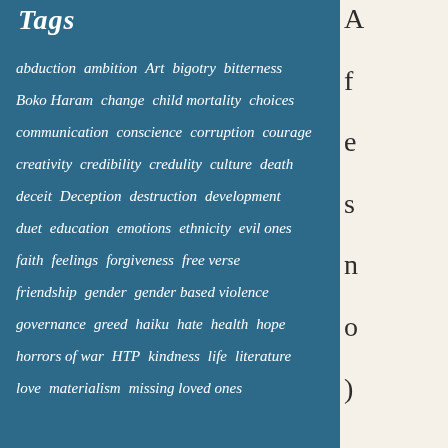Tags
abduction  ambition  Art  bigotry  bitterness  Boko Haram  change  child mortality  choices  communication  conscience  corruption  courage  creativity  credibility  credulity  culture  death  deceit  Deception  destruction  development  duet  education  emotions  ethnicity  evil ones  faith  feelings  forgiveness  free verse  friendship  gender  gender based violence  governance  greed  haiku  hate  health  hope  horrors of war  HTP  kindness  life  literature  love  materialism  missing loved ones